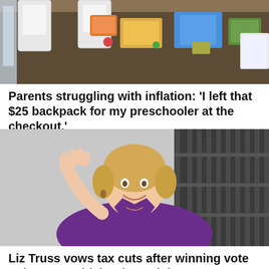[Figure (photo): Overhead view of a children's classroom table with white chairs, colorful toys, books, and school supplies scattered on a dark wooden table surface]
Parents struggling with inflation: 'I left that $25 backpack for my preschooler at the checkout.'
[Figure (photo): Liz Truss, a blonde woman wearing a purple blazer, smiling and waving her right hand, photographed outdoors against a dark iron railing background]
Liz Truss vows tax cuts after winning vote to be next British prime minister